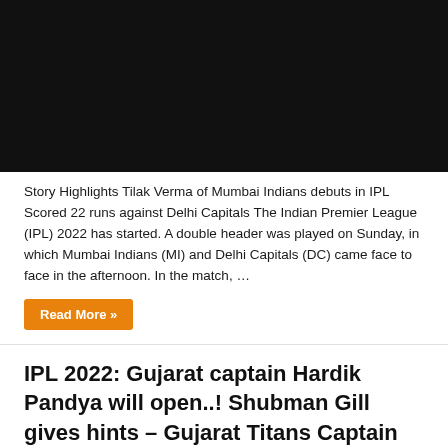[Figure (photo): Black/dark image placeholder, likely a video thumbnail for an IPL cricket match article]
Story Highlights Tilak Verma of Mumbai Indians debuts in IPL Scored 22 runs against Delhi Capitals The Indian Premier League (IPL) 2022 has started. A double header was played on Sunday, in which Mumbai Indians (MI) and Delhi Capitals (DC) came face to face in the afternoon. In the match, …
Read More »
IPL 2022: Gujarat captain Hardik Pandya will open..! Shubman Gill gives hints – Gujarat Titans Captain Hardik Pandya Open with